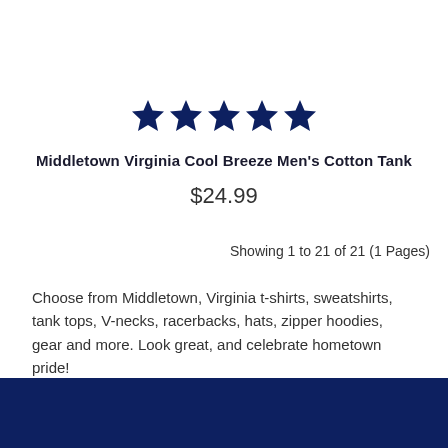[Figure (other): Five filled navy blue stars rating]
Middletown Virginia Cool Breeze Men's Cotton Tank
$24.99
Showing 1 to 21 of 21 (1 Pages)
Choose from Middletown, Virginia t-shirts, sweatshirts, tank tops, V-necks, racerbacks, hats, zipper hoodies, gear and more. Look great, and celebrate hometown pride!